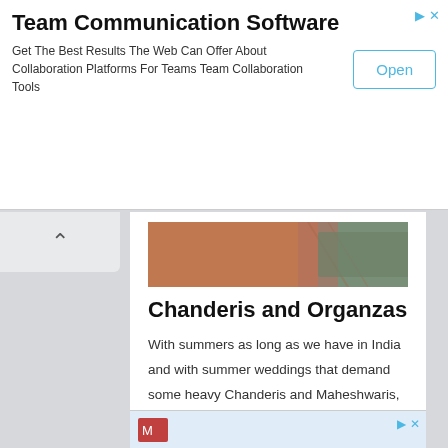Team Communication Software
Get The Best Results The Web Can Offer About Collaboration Platforms For Teams Team Collaboration Tools
[Figure (photo): Cropped photo showing fabric or textile material with embroidery detail on a pinkish-brown background]
Chanderis and Organzas
With summers as long as we have in India and with summer weddings that demand some heavy Chanderis and Maheshwaris, Organzas and Tissues, there is always a worry that theses fragile beauties with rather fine weaves will suffer storage debacles.